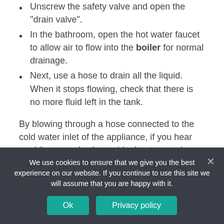Unscrew the safety valve and open the “drain valve”.
In the bathroom, open the hot water faucet to allow air to flow into the boiler for normal drainage.
Next, use a hose to drain all the liquid. When it stops flowing, check that there is no more fluid left in the tank.
By blowing through a hose connected to the cold water inlet of the appliance, if you hear rumbling sounds, the residual water can be drained by unscrewing the heating element.
A heater is a device that makes cold water hot by using liquid, solid or gas fuel and brings it directly to the
We use cookies to ensure that we give you the best experience on our website. If you continue to use this site we will assume that you are happy with it.